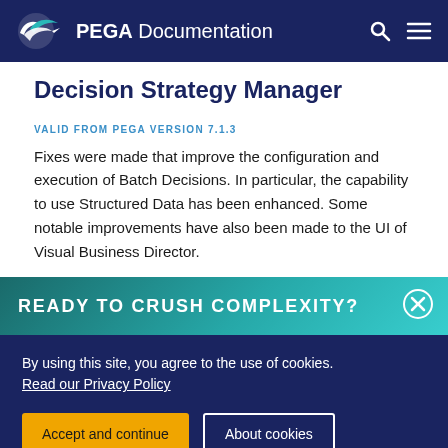PEGA Documentation
Decision Strategy Manager
VALID FROM PEGA VERSION 7.1.3
Fixes were made that improve the configuration and execution of Batch Decisions. In particular, the capability to use Structured Data has been enhanced. Some notable improvements have also been made to the UI of Visual Business Director.
READY TO CRUSH COMPLEXITY?
By using this site, you agree to the use of cookies. Read our Privacy Policy